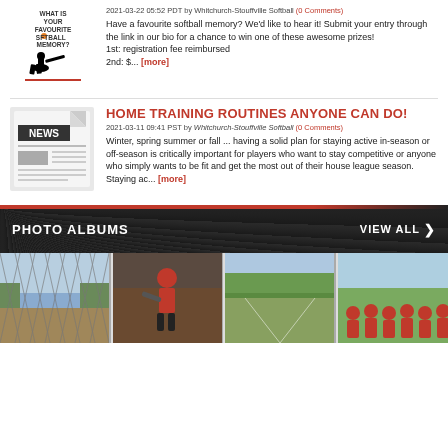[Figure (illustration): Softball batter silhouette with text 'What is your favourite softball memory?']
2021-03-22 05:52 PDT by Whitchurch-Stouffville Softball (0 Comments)
Have a favourite softball memory? We'd like to hear it! Submit your entry through the link in our bio for a chance to win one of these awesome prizes! 1st: registration fee reimbursed 2nd: $... [more]
HOME TRAINING ROUTINES ANYONE CAN DO!
[Figure (illustration): Newspaper illustration with 'NEWS' headline]
2021-03-11 09:41 PST by Whitchurch-Stouffville Softball (0 Comments)
Winter, spring summer or fall ... having a solid plan for staying active in-season or off-season is critically important for players who want to stay competitive or anyone who simply wants to be fit and get the most out of their house league season. Staying ac... [more]
PHOTO ALBUMS
VIEW ALL
[Figure (photo): Baseball field seen through chain-link fence]
[Figure (photo): Player in red uniform at bat]
[Figure (photo): Softball field with green trees in background]
[Figure (photo): Team of young players in red uniforms posing]